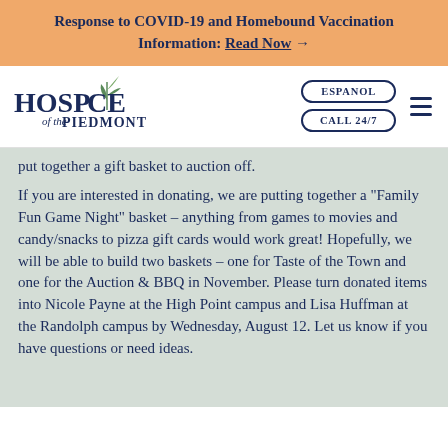Response to COVID-19 and Homebound Vaccination Information: Read Now →
[Figure (logo): Hospice of the Piedmont logo with stylized leaf/plant graphic]
put together a gift basket to auction off.
If you are interested in donating, we are putting together a "Family Fun Game Night" basket – anything from games to movies and candy/snacks to pizza gift cards would work great! Hopefully, we will be able to build two baskets – one for Taste of the Town and one for the Auction & BBQ in November. Please turn donated items into Nicole Payne at the High Point campus and Lisa Huffman at the Randolph campus by Wednesday, August 12. Let us know if you have questions or need ideas.